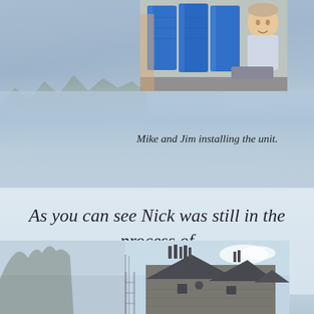[Figure (photo): Photo of Mike and Jim installing a water filtration unit, showing blue cylindrical containers and a man examining equipment, with an outdoor/water background scene]
Mike and Jim installing the unit.
As you can see Nick was still in the process of building the water shed
[Figure (photo): Photo of a stone building with multiple rooflines and chimney stacks, partially surrounded by trees, with scaffolding visible on the left side]